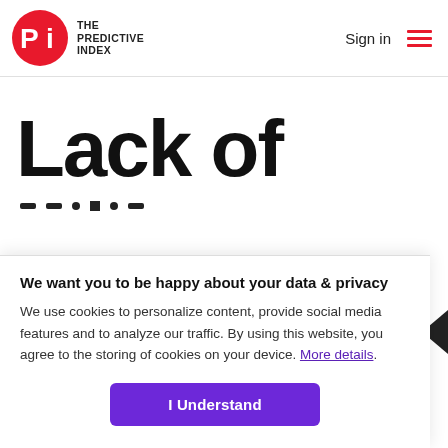THE PREDICTIVE INDEX | Sign in
Lack of
We want you to be happy about your data & privacy
We use cookies to personalize content, provide social media features and to analyze our traffic. By using this website, you agree to the storing of cookies on your device. More details.
I Understand